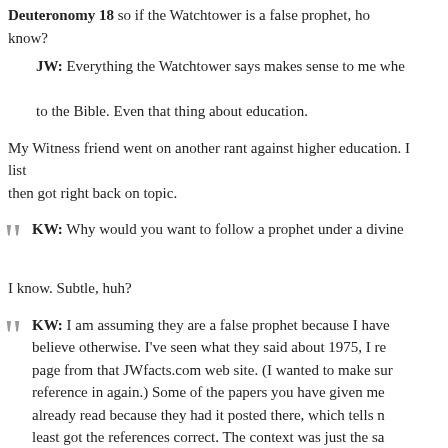Deuteronomy 18 so if the Watchtower is a false prophet, how do you know?
JW: Everything the Watchtower says makes sense to me when I compare it to the Bible. Even that thing about education.
My Witness friend went on another rant against higher education. I listened politely, then got right back on topic.
KW: Why would you want to follow a prophet under a divine death penalty?
I know. Subtle, huh?
KW: I am assuming they are a false prophet because I have no reason to believe otherwise. I've seen what they said about 1975, I read a print page from that JWfacts.com web site. (I wanted to make sure I get the reference in again.) Some of the papers you have given me I have already read because they had it posted there, which tells me they at least got the references correct. The context was just the same as I'm reading here. So it is clear to me that the Watchtower did predict the world for 1975, yet it didn't happen. So how is it that the...